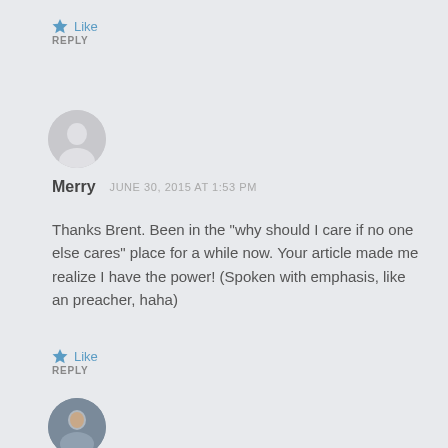Like
REPLY
[Figure (photo): Default avatar icon - grey circle with person silhouette]
Merry   JUNE 30, 2015 AT 1:53 PM
Thanks Brent. Been in the "why should I care if no one else cares" place for a while now. Your article made me realize I have the power! (Spoken with emphasis, like an preacher, haha)
Like
REPLY
[Figure (photo): Avatar photo of a man]